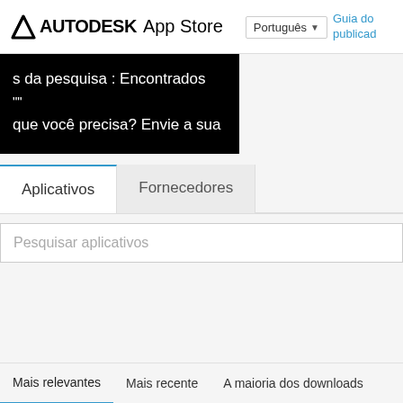AUTODESK App Store  Português  Guia do publicad
[Figure (screenshot): Black banner with search result text in Portuguese: 's da pesquisa : Encontrados', '""', 'que você precisa? Envie a sua']
Aplicativos    Fornecedores
Pesquisar aplicativos
Mais relevantes    Mais recente    A maioria dos downloads